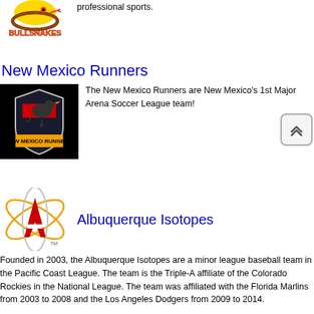[Figure (logo): Bullsnakes team logo with text BULLSNAKES in orange/red]
professional sports.
New Mexico Runners
[Figure (logo): New Mexico Runners soccer team logo on black background showing a roadrunner bird]
The New Mexico Runners are New Mexico's 1st Major Arena Soccer League team!
Albuquerque Isotopes
[Figure (logo): Albuquerque Isotopes baseball team logo with atom symbol and letter A]
Founded in 2003, the Albuquerque Isotopes are a minor league baseball team in the Pacific Coast League. The team is the Triple-A affiliate of the Colorado Rockies in the National League. The team was affiliated with the Florida Marlins from 2003 to 2008 and the Los Angeles Dodgers from 2009 to 2014.